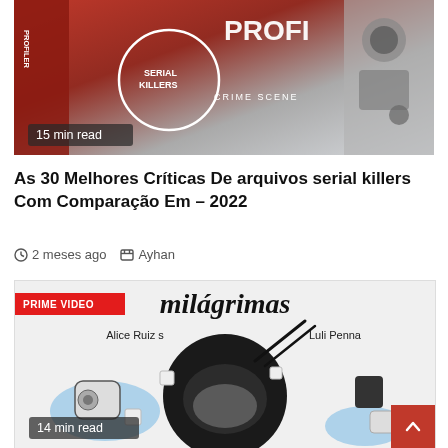[Figure (photo): Book cover image for a serial killers profiler book, with red and orange tones, showing text 'SERIAL KILLERS CRIME SCENE' with a badge overlay showing '15 min read']
As 30 Melhores Críticas De arquivos serial killers Com Comparação Em – 2022
2 meses ago   Ayhan
[Figure (photo): Book cover for 'Milágrimas' by Alice Ruiz S. and Luli Penna, black and white illustration of a large round figure with hands, chopsticks, and food items. 'PRIME VIDEO' badge overlay. '14 min read' badge at bottom.]